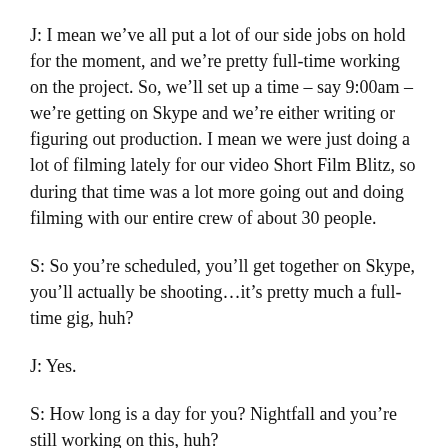J: I mean we've all put a lot of our side jobs on hold for the moment, and we're pretty full-time working on the project. So, we'll set up a time – say 9:00am – we're getting on Skype and we're either writing or figuring out production. I mean we were just doing a lot of filming lately for our video Short Film Blitz, so during that time was a lot more going out and doing filming with our entire crew of about 30 people.
S: So you're scheduled, you'll get together on Skype, you'll actually be shooting...it's pretty much a full-time gig, huh?
J: Yes.
S: How long is a day for you? Nightfall and you're still working on this, huh?